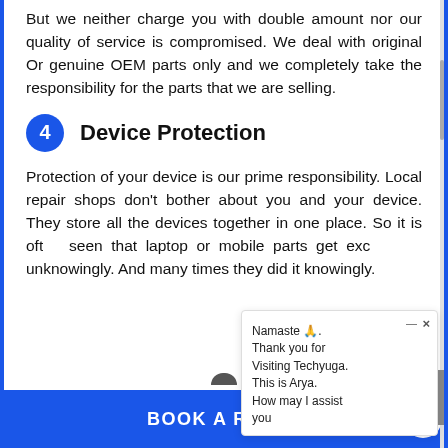But we neither charge you with double amount nor our quality of service is compromised. We deal with original Or genuine OEM parts only and we completely take the responsibility for the parts that we are selling.
4  Device Protection
Protection of your device is our prime responsibility. Local repair shops don't bother about you and your device. They store all the devices together in one place. So it is oft seen that laptop or mobile parts get exc unknowingly. And many times they did it knowingly.
[Figure (screenshot): Chat popup widget showing 'Namaste 🙏. Thank you for Visiting Techyuga. This is Arya. How may I assist you' with close button]
BOOK A REPAIR